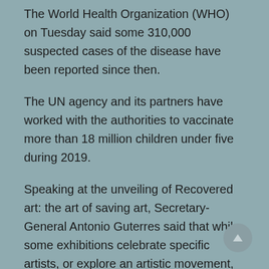The World Health Organization (WHO) on Tuesday said some 310,000 suspected cases of the disease have been reported since then.
The UN agency and its partners have worked with the authorities to vaccinate more than 18 million children under five during 2019.
Speaking at the unveiling of Recovered art: the art of saving art, Secretary-General Antonio Guterres said that while some exhibitions celebrate specific artists, or explore an artistic movement, in this case every masterpiece was stolen and every masterpiece was subsequently recovered thanks to the determination and investigative expertise of the Italian Carabinieri, or Italy's national police force, often working across several countries.